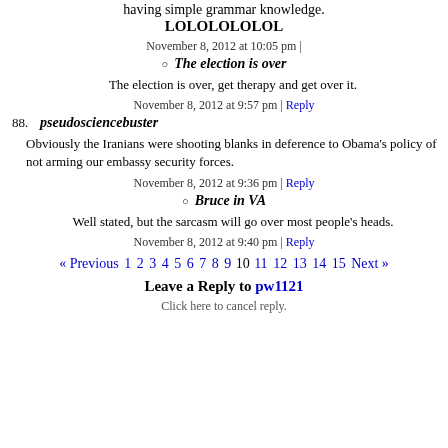having simple grammar knowledge. LOLOLOLOLOL
November 8, 2012 at 10:05 pm |
The election is over
The election is over, get therapy and get over it.
November 8, 2012 at 9:57 pm | Reply
88. pseudosciencebuster
Obviously the Iranians were shooting blanks in deference to Obama's policy of not arming our embassy security forces.
November 8, 2012 at 9:36 pm | Reply
Bruce in VA
Well stated, but the sarcasm will go over most people's heads.
November 8, 2012 at 9:40 pm | Reply
« Previous 1 2 3 4 5 6 7 8 9 10 11 12 13 14 15 Next »
Leave a Reply to pw1121
Click here to cancel reply.